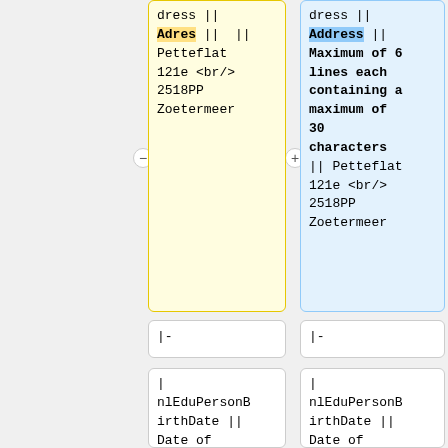dress || Adres ||  || Petteflat 121e <br/> 2518PP Zoetermeer
dress || Address || Maximum of 6 lines each containing a maximum of 30 characters || Petteflat 121e <br/> 2518PP Zoetermeer
|-
|-
| nlEduPersonBirthDate || Date of birth|| yyyymmdd || 19801231
| nlEduPersonBirthDate || Date of birth|| yyyymmdd || 19801231